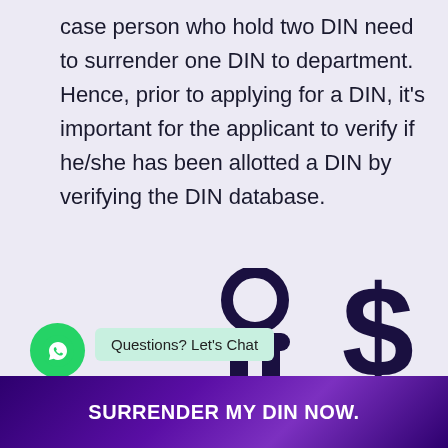case person who hold two DIN need to surrender one DIN to department. Hence, prior to applying for a DIN, it's important for the applicant to verify if he/she has been allotted a DIN by verifying the DIN database.
[Figure (illustration): Person icon (silhouette) and dollar sign icon on light purple background, with a WhatsApp chat button and 'Questions? Let's Chat' bubble]
SURRENDER MY DIN NOW.